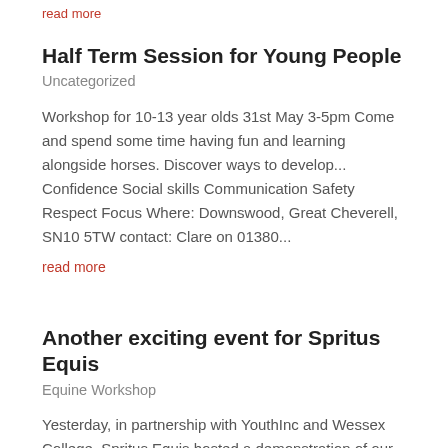read more
Half Term Session for Young People
Uncategorized
Workshop for 10-13 year olds 31st May 3-5pm Come and spend some time having fun and learning alongside horses. Discover ways to develop... Confidence Social skills Communication Safety Respect Focus Where: Downswood, Great Cheverell, SN10 5TW contact: Clare on 01380...
read more
Another exciting event for Spritus Equis
Equine Workshop
Yesterday, in partnership with YouthInc and Wessex College, Spritus Equis hosted a demonstration of our work with young people with complex needs. We travelled to an open day at a lovely new children